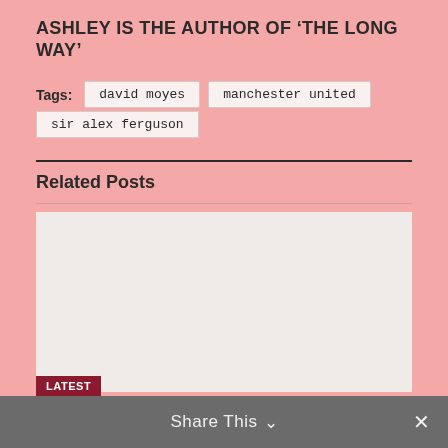ASHLEY IS THE AUTHOR OF 'THE LONG WAY'
Tags:  david moyes  manchester united  sir alex ferguson
Related Posts
[Figure (photo): Light grey/beige placeholder image for a related post]
Share This  ✕